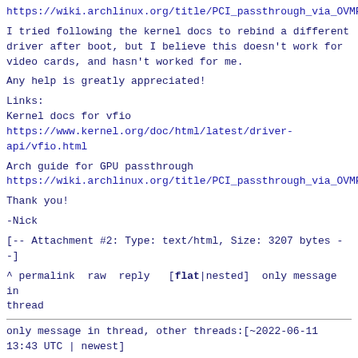https://wiki.archlinux.org/title/PCI_passthrough_via_OVMF
I tried following the kernel docs to rebind a different driver after boot, but I believe this doesn't work for video cards, and hasn't worked for me.
Any help is greatly appreciated!
Links:
Kernel docs for vfio
https://www.kernel.org/doc/html/latest/driver-api/vfio.html
Arch guide for GPU passthrough
https://wiki.archlinux.org/title/PCI_passthrough_via_OVMF
Thank you!
-Nick
[-- Attachment #2: Type: text/html, Size: 3207 bytes --]
^ permalink raw reply  [flat|nested] only message in thread
only message in thread, other threads:[~2022-06-11 13:43 UTC | newest]